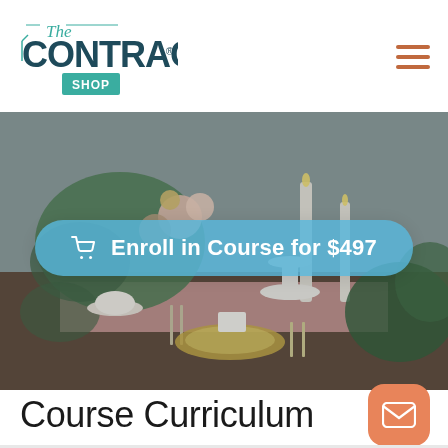The CONTRACT SHOP
[Figure (photo): Styled wedding table setting with floral arrangement, candles, pink table runner, teacup and saucer, gold-rimmed plates and silverware against a gray wooden backdrop]
Enroll in Course for $497
Course Curriculum